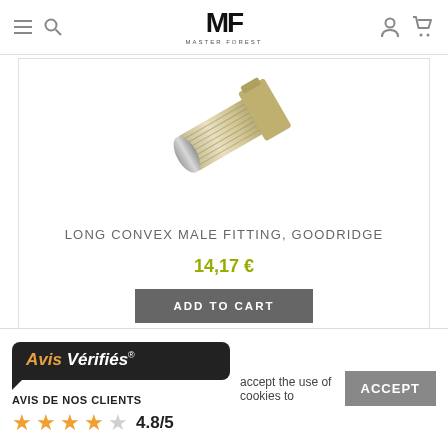Master Forest — navigation header with menu, search, logo, account, cart icons
[Figure (photo): Partial view of a long convex male fitting by Goodridge — a metallic threaded bolt component photographed on white background]
LONG CONVEX MALE FITTING, GOODRIDGE
14,17 €
ADD TO CART
[Figure (screenshot): Avis Vérifiés widget showing AVIS DE NOS CLIENTS with 4.8/5 rating and 4 orange stars]
accept the use of cookies to
ACCEPT